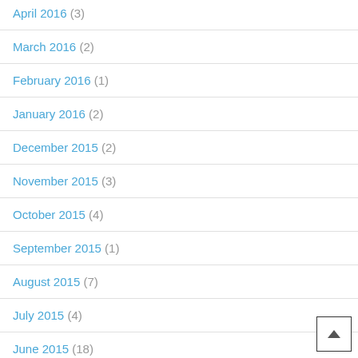April 2016 (3)
March 2016 (2)
February 2016 (1)
January 2016 (2)
December 2015 (2)
November 2015 (3)
October 2015 (4)
September 2015 (1)
August 2015 (7)
July 2015 (4)
June 2015 (18)
May 2015 (8)